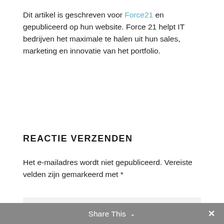Dit artikel is geschreven voor Force21 en gepubliceerd op hun website. Force 21 helpt IT bedrijven het maximale te halen uit hun sales, marketing en innovatie van het portfolio.
REACTIE VERZENDEN
Het e-mailadres wordt niet gepubliceerd. Vereiste velden zijn gemarkeerd met *
Reactie *
Share This ✓ ✕